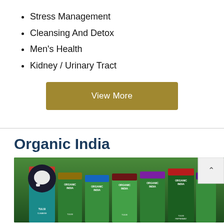Stress Management
Cleansing And Detox
Men's Health
Kidney / Urinary Tract
View More
Organic India
[Figure (photo): Multiple Organic India tea product boxes displayed in a row, showing various Tulsi tea varieties including Tulsi Cleanse and Tulsi Peppermint, with a chat icon overlay on the left and a scroll-to-top button on the right.]